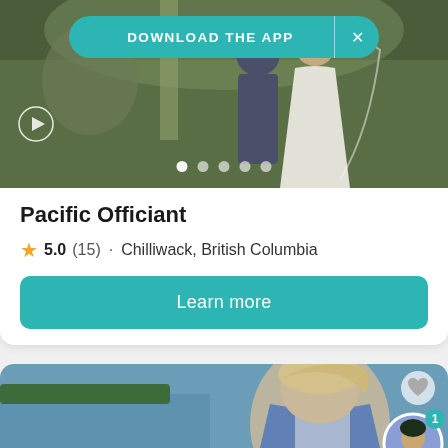[Figure (screenshot): Wedding photo with couple, play button overlay, pagination dots, and Download the App banner]
Pacific Officiant
5.0 (15) · Chilliwack, British Columbia
Learn more
[Figure (photo): Woman with blonde hair standing outdoors near water, wearing a blue and white stole/sash, with a heart icon and notification badge overlay]